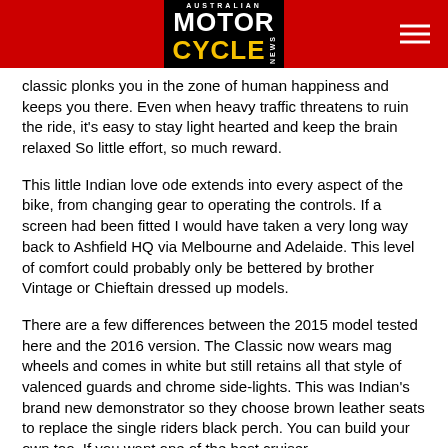AUSTRALIAN MOTORCYCLE NEWS
classic plonks you in the zone of human happiness and keeps you there. Even when heavy traffic threatens to ruin the ride, it's easy to stay light hearted and keep the brain relaxed So little effort, so much reward.
This little Indian love ode extends into every aspect of the bike, from changing gear to operating the controls. If a screen had been fitted I would have taken a very long way back to Ashfield HQ via Melbourne and Adelaide. This level of comfort could probably only be bettered by brother Vintage or Chieftain dressed up models.
There are a few differences between the 2015 model tested here and the 2016 version. The Classic now wears mag wheels and comes in white but still retains all that style of valenced guards and chrome side-lights. This was Indian's brand new demonstrator so they choose brown leather seats to replace the single riders black perch. You can build your own too. If you want one of the best cruiser